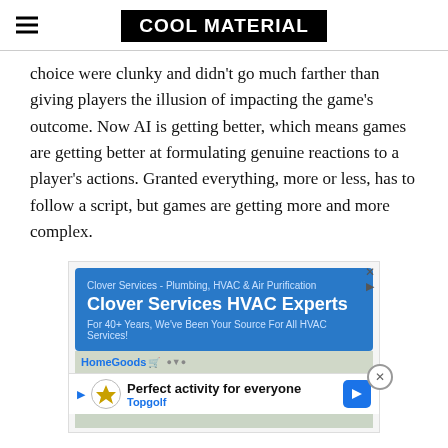COOL MATERIAL
choice were clunky and didn't go much farther than giving players the illusion of impacting the game's outcome. Now AI is getting better, which means games are getting better at formulating genuine reactions to a player's actions. Granted everything, more or less, has to follow a script, but games are getting more and more complex.
[Figure (screenshot): Advertisement for Clover Services HVAC Experts on a blue background, with a map strip showing HomeGoods location, and a bottom ad bar for Topgolf reading 'Perfect activity for everyone']